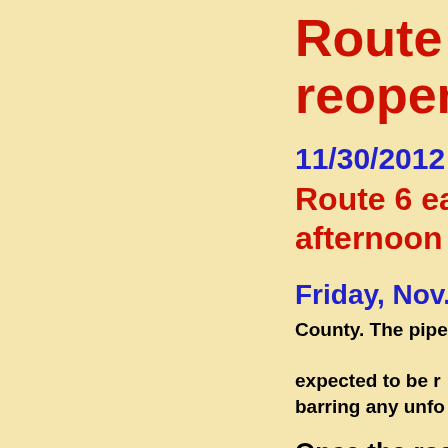Route 6 e reopen to
11/30/2012
Route 6 east o afternoon toda
Friday, Nov. 30 upc
County. The pipe replacem expected to be r barring any unfo
Once the road is schedule.